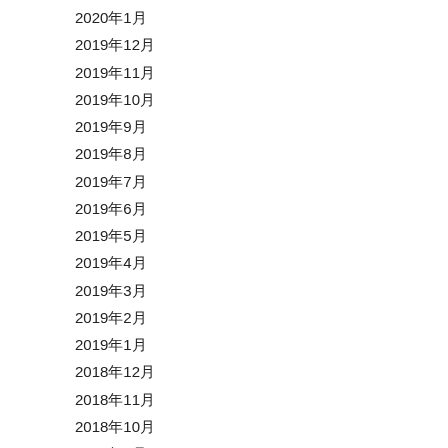2020年1月
2019年12月
2019年11月
2019年10月
2019年9月
2019年8月
2019年7月
2019年6月
2019年5月
2019年4月
2019年3月
2019年2月
2019年1月
2018年12月
2018年11月
2018年10月
2018年9月
2018年8月
2018年7月
2018年6月
2018年5月
2018年4月